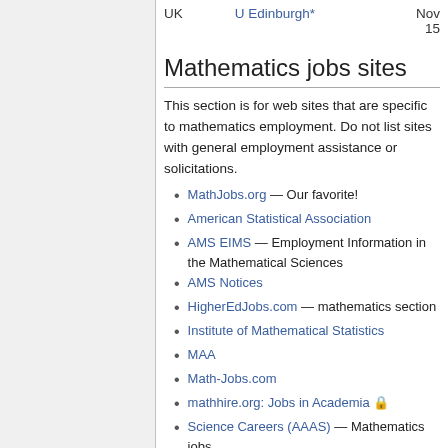| Country | Institution | Date |
| --- | --- | --- |
| UK | U Edinburgh* | Nov 15 |
Mathematics jobs sites
This section is for web sites that are specific to mathematics employment. Do not list sites with general employment assistance or solicitations.
MathJobs.org — Our favorite!
American Statistical Association
AMS EIMS — Employment Information in the Mathematical Sciences
AMS Notices
HigherEdJobs.com — mathematics section
Institute of Mathematical Statistics
MAA
Math-Jobs.com
mathhire.org: Jobs in Academia 🔒
Science Careers (AAAS) — Mathematics jobs
ScienceFacultyJobs.com — Mathematics